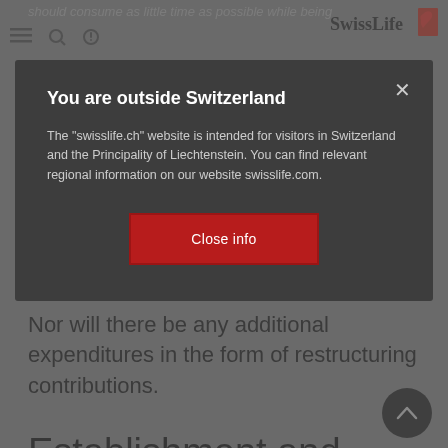should consume as little time as possible while being
You are outside Switzerland
The "swisslife.ch" website is intended for visitors in Switzerland and the Principality of Liechtenstein. You can find relevant regional information on our website swisslife.com.
Nor will there be any additional expenditures in the form of restructuring contributions.
Establishment and growth
The growth phase is focused on increasing the customer base and establishing sustainable processes